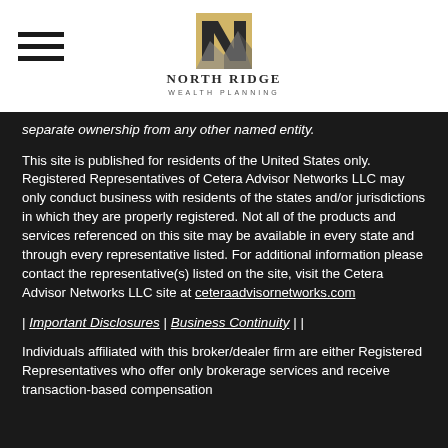North Ridge Wealth Planning (logo)
separate ownership from any other named entity.
This site is published for residents of the United States only. Registered Representatives of Cetera Advisor Networks LLC may only conduct business with residents of the states and/or jurisdictions in which they are properly registered. Not all of the products and services referenced on this site may be available in every state and through every representative listed. For additional information please contact the representative(s) listed on the site, visit the Cetera Advisor Networks LLC site at ceteraadvisornetworks.com
| Important Disclosures | Business Continuity | |
Individuals affiliated with this broker/dealer firm are either Registered Representatives who offer only brokerage services and receive transaction-based compensation